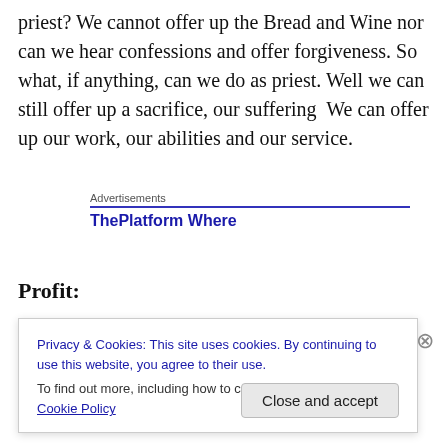priest? We cannot offer up the Bread and Wine nor can we hear confessions and offer forgiveness. So what, if anything, can we do as priest. Well we can still offer up a sacrifice, our suffering  We can offer up our work, our abilities and our service.
Advertisements
ThePlatform Where
Profit:
We are called to be profits, but if we think about what a
Privacy & Cookies: This site uses cookies. By continuing to use this website, you agree to their use.
To find out more, including how to control cookies, see here: Cookie Policy